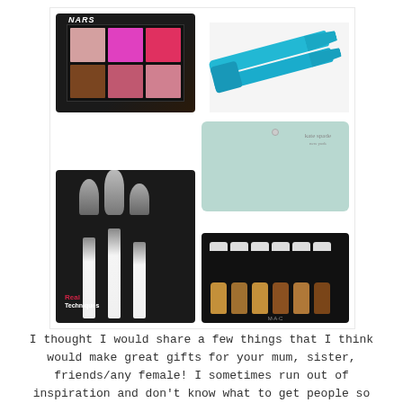[Figure (photo): Collage of gift items: NARS makeup palette, turquoise GHD hair straightener, Real Techniques brush set, Kate Spade mint green wallet, MAC pigment jar set]
I thought I would share a few things that I think would make great gifts for your mum, sister, friends/any female! I sometimes run out of inspiration and don't know what to get people so I've found a few things I think would make perfect gifts this christmas!